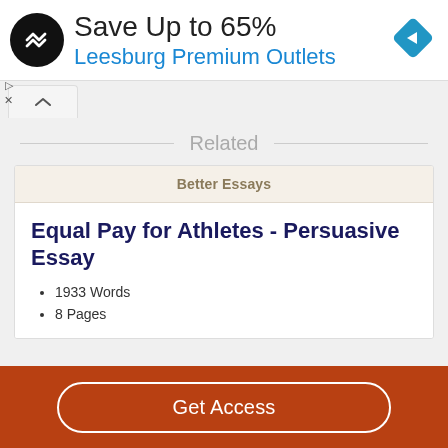[Figure (screenshot): Advertisement banner: Save Up to 65% at Leesburg Premium Outlets, with circular logo and blue diamond navigation icon]
Related
Better Essays
Equal Pay for Athletes - Persuasive Essay
1933 Words
8 Pages
Get Access